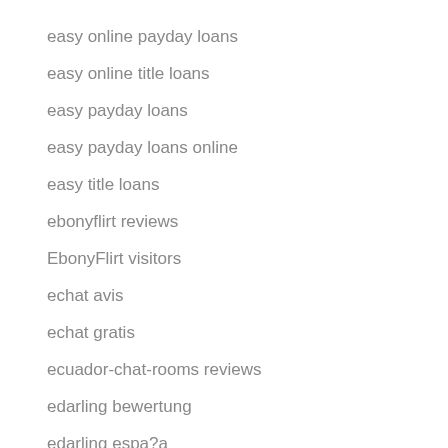easy online payday loans
easy online title loans
easy payday loans
easy payday loans online
easy title loans
ebonyflirt reviews
EbonyFlirt visitors
echat avis
echat gratis
ecuador-chat-rooms reviews
edarling bewertung
edarling espa?a
eDarling szukaj wedlug nazwy
eDarling visitors
eharmony cost service